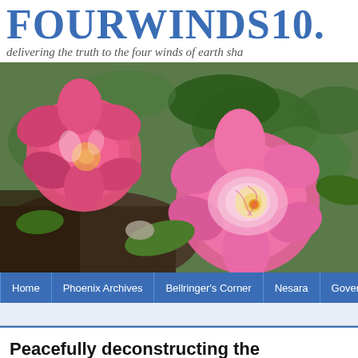FOURWINDS10.
delivering the truth to the four winds of earth sha
[Figure (photo): Close-up photo of two pink/magenta roses with green foliage background]
Home | Phoenix Archives | Bellringer's Corner | Nesara | Government | Histo
Peacefully deconstructing the Corporation